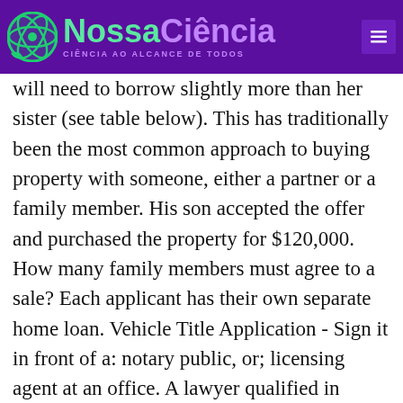NossaCiência — CIÊNCIA AO ALCANCE DE TODOS
will need to borrow slightly more than her sister (see table below). This has traditionally been the most common approach to buying property with someone, either a partner or a family member. His son accepted the offer and purchased the property for $120,000. How many family members must agree to a sale? Each applicant has their own separate home loan. Vehicle Title Application - Sign it in front of a: notary public, or; licensing agent at an office. A lawyer qualified in estate planning can reduce or eliminate the tax consequences with proper planning. Private sale of property. To do this all that the Title Office and banks require is to see a executed "Transfer of Land" document and relevant State Revenue Office paperwork. Antoine offered to sell the rental property to his son for the balance owing on the mortgage. Stat. Buying a house with cash from a family member of a deceased owner makes for a speedy sale, but it requires close